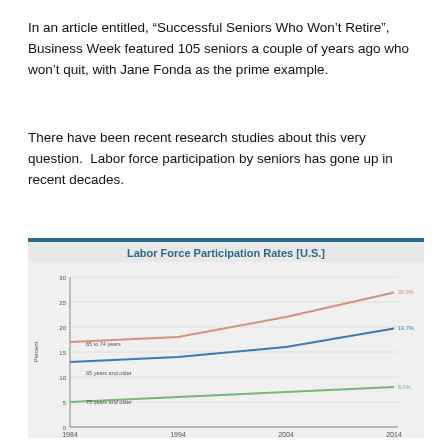In an article entitled, “Successful Seniors Who Won’t Retire”,  Business Week featured 105 seniors a couple of years ago who won’t quit, with Jane Fonda as the prime example.
There have been recent research studies about this very question.  Labor force participation by seniors has gone up in recent decades.
[Figure (line-chart): Labor Force Participation Rates [U.S.]]